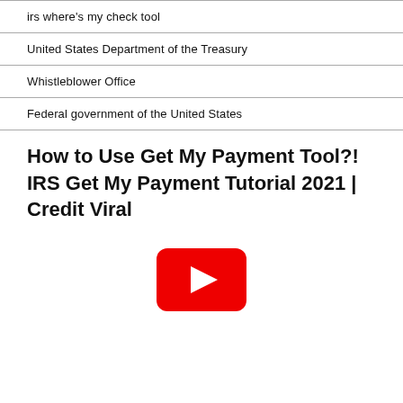irs where's my check tool
United States Department of the Treasury
Whistleblower Office
Federal government of the United States
How to Use Get My Payment Tool?! IRS Get My Payment Tutorial 2021 | Credit Viral
[Figure (screenshot): YouTube play button icon in red with white triangle, representing an embedded video thumbnail]